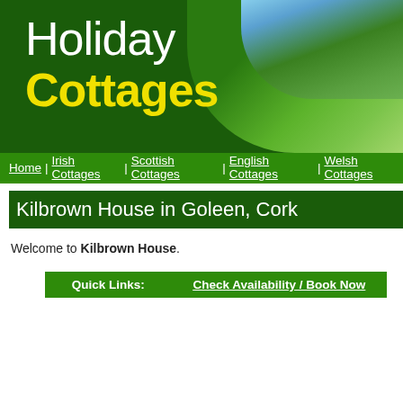[Figure (illustration): Holiday Cottages website header banner with dark green background, white 'Holiday' text, yellow bold 'Cottages' text, and a curved photo of green hills and blue sky in the top right corner]
Home | Irish Cottages | Scottish Cottages | English Cottages | Welsh Cottages
Kilbrown House in Goleen, Cork
Welcome to Kilbrown House.
| Quick Links: | Check Availability / Book Now |
| --- | --- |